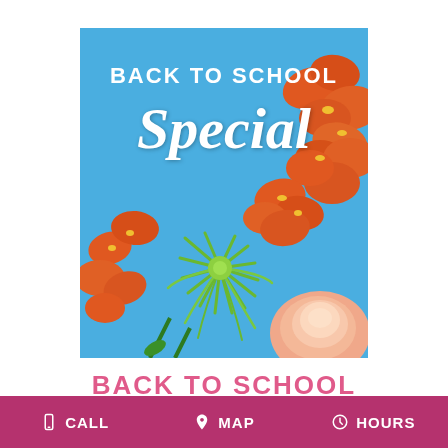[Figure (illustration): Promotional floral image with blue sky background showing orange alstroemeria flowers, a green spider chrysanthemum, and a peach rose. Text overlay reads 'BACK TO SCHOOL' in white sans-serif and 'Special' in large white script font.]
BACK TO SCHOOL
CALL  MAP  HOURS